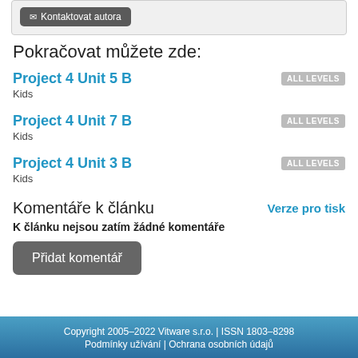[Figure (other): Button labeled 'Kontaktovat autora' (Contact the author) in a grey box]
Pokračovat můžete zde:
Project 4 Unit 5 B
Kids
ALL LEVELS
Project 4 Unit 7 B
Kids
ALL LEVELS
Project 4 Unit 3 B
Kids
ALL LEVELS
Komentáře k článku
Verze pro tisk
K článku nejsou zatím žádné komentáře
Přidat komentář
Copyright 2005–2022 Vitware s.r.o. | ISSN 1803–8298
Podmínky užívání | Ochrana osobních údajů